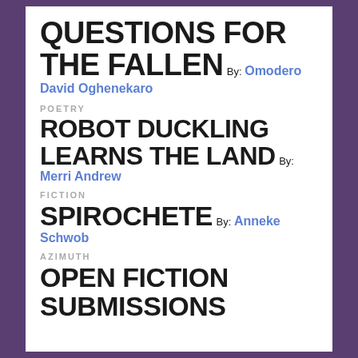QUESTIONS FOR THE FALLEN By: Omodero David Oghenekaro
POETRY
ROBOT DUCKLING LEARNS THE LAND By: Merri Andrew
FICTION
SPIROCHETE By: Anneke Schwob
AZIMUTH
OPEN FICTION SUBMISSIONS